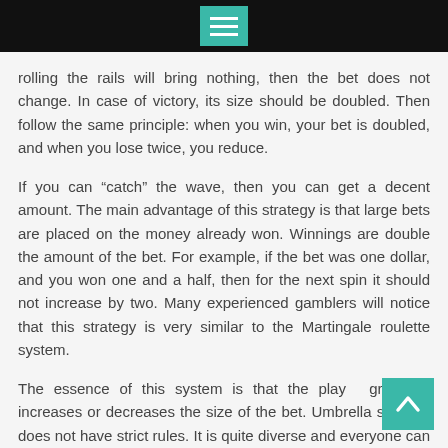[Menu icon bar]
rolling the rails will bring nothing, then the bet does not change. In case of victory, its size should be doubled. Then follow the same principle: when you win, your bet is doubled, and when you lose twice, you reduce.
If you can “catch” the wave, then you can get a decent amount. The main advantage of this strategy is that large bets are placed on the money already won. Winnings are double the amount of the bet. For example, if the bet was one dollar, and you won one and a half, then for the next spin it should not increase by two. Many experienced gamblers will notice that this strategy is very similar to the Martingale roulette system.
The essence of this system is that the player gradually increases or decreases the size of the bet. Umbrella strategy does not have strict rules. It is quite diverse and everyone can customize it